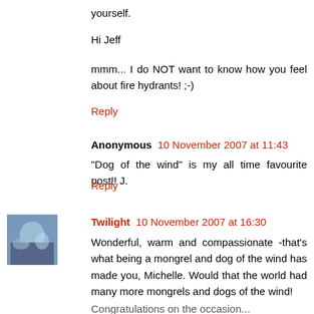yourself.
Hi Jeff
mmm... I do NOT want to know how you feel about fire hydrants! ;-)
Reply
Anonymous  10 November 2007 at 11:43
"Dog of the wind" is my all time favourite post!! J.
Reply
Twilight  10 November 2007 at 16:30
Wonderful, warm and compassionate -that's what being a mongrel and dog of the wind has made you, Michelle. Would that the world had many more mongrels and dogs of the wind!
Congratulations on the occasion...